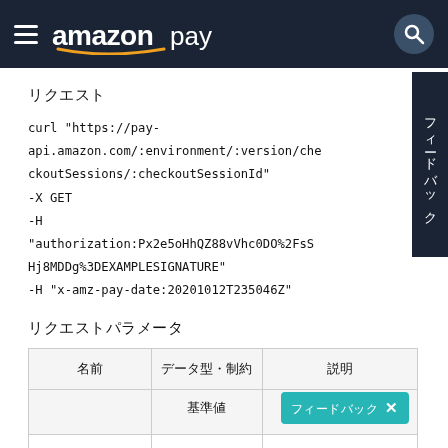amazon pay
リクエスト
curl "https://pay-api.amazon.com/:environment/:version/checkoutSessions/:checkoutSessionId"
-X GET
-H
"authorization:Px2e5oHhQZ88vVhc0DO%2FsSHj8MDDg%3DEXAMPLESIGNATURE"
-H "x-amz-pay-date:20201012T235046Z"
リクエストパラメータ
| 名前 | データ型・制約 | 説明 |
| --- | --- | --- |